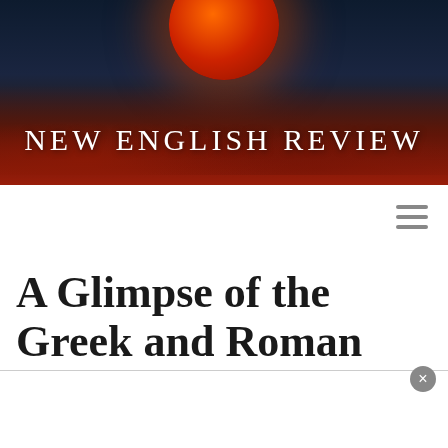[Figure (photo): Website header banner showing a red/orange blood moon rising above dark red dramatic clouds against a dark navy sky background, with the site title 'NEW ENGLISH REVIEW' overlaid in white serif letters]
A Glimpse of the Greek and Roman Mosaic